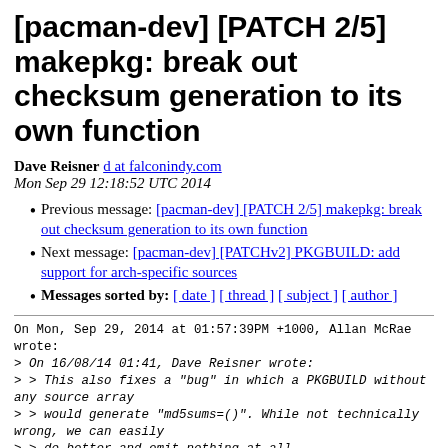[pacman-dev] [PATCH 2/5] makepkg: break out checksum generation to its own function
Dave Reisner d at falconindy.com
Mon Sep 29 12:18:52 UTC 2014
Previous message: [pacman-dev] [PATCH 2/5] makepkg: break out checksum generation to its own function
Next message: [pacman-dev] [PATCHv2] PKGBUILD: add support for arch-specific sources
Messages sorted by: [ date ] [ thread ] [ subject ] [ author ]
On Mon, Sep 29, 2014 at 01:57:39PM +1000, Allan McRae wrote:
> On 16/08/14 01:41, Dave Reisner wrote:
> > This also fixes a "bug" in which a PKGBUILD without any source array
> > would generate "md5sums=()". While not technically wrong, we can easily
> > do better and emit nothing at all.
> > ...